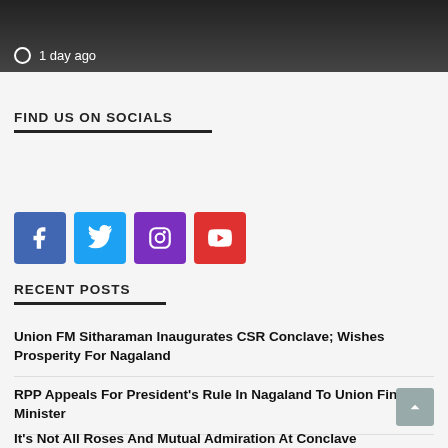[Figure (photo): Dark background partial photo of a person, with text '1 day ago' and a clock icon overlay at bottom left]
FIND US ON SOCIALS
[Figure (infographic): Social media icons: Facebook (blue), Twitter (light blue), Instagram (purple), YouTube (red)]
RECENT POSTS
Union FM Sitharaman Inaugurates CSR Conclave; Wishes Prosperity For Nagaland
RPP Appeals For President's Rule In Nagaland To Union Finance Minister
It's Not All Roses And Mutual Admiration At Conclave